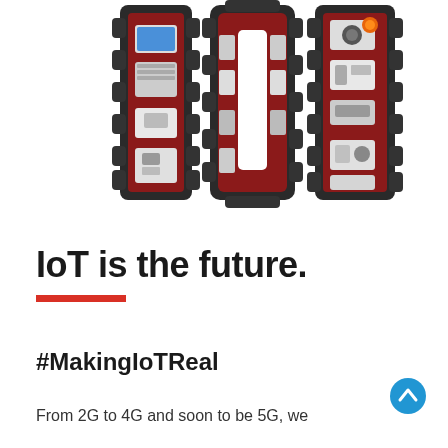[Figure (illustration): 3D rendered letters 'IoT' made of industrial-looking dark rubber/tire-textured structures with red interiors, containing various electronic devices and gadgets inside the letter shapes]
IoT is the future.
#MakingIoTReal
From 2G to 4G and soon to be 5G, we